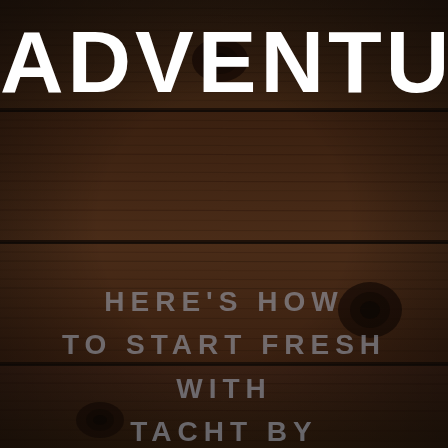[Figure (photo): Dark rustic wood plank background with deep brown tones, visible wood grain, knots and texture throughout the image]
ADVENTUR
HERE'S HOW TO START FRESH WITH TACHT BY NATURE